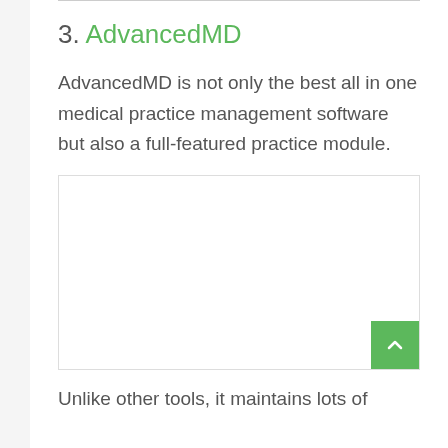3. AdvancedMD
AdvancedMD is not only the best all in one medical practice management software but also a full-featured practice module.
[Figure (screenshot): Screenshot placeholder of AdvancedMD software interface with a scroll-to-top button (green square with upward chevron) in the bottom-right corner.]
Unlike other tools, it maintains lots of